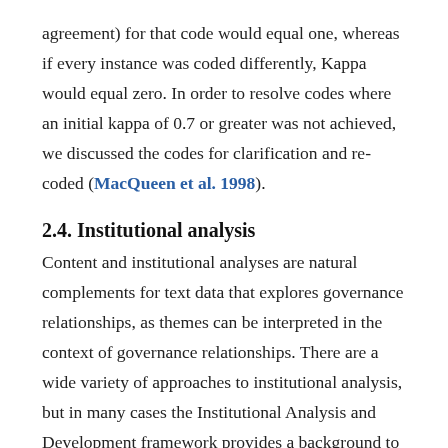agreement) for that code would equal one, whereas if every instance was coded differently, Kappa would equal zero. In order to resolve codes where an initial kappa of 0.7 or greater was not achieved, we discussed the codes for clarification and re-coded (MacQueen et al. 1998).
2.4. Institutional analysis
Content and institutional analyses are natural complements for text data that explores governance relationships, as themes can be interpreted in the context of governance relationships. There are a wide variety of approaches to institutional analysis, but in many cases the Institutional Analysis and Development framework provides a background to the